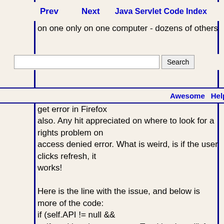Prev  Next  Java Servlet Code Index
I get an access denied on this one website that many people use (but on one only on one computer - dozens of others made sure they all have same IE: and java, and get error in Firefox also. Any hit appreciated on where to look for a rights problem on access denied error. What is weird, is if the user clicks refresh, it works!

Here is the line with the issue, and below is more of the code:
if (self.API != null && self.tracking.document.pwsTracking != null) {
    self.content.location.href = contentUrl;
  }else if(self.tracking.document.appletpea!= null) { //question appletpea

And below is bigger picture.

//modify the line below if you have changed the servlet alias in the proxlet.war's web.xml.
Awesome  Help  Home